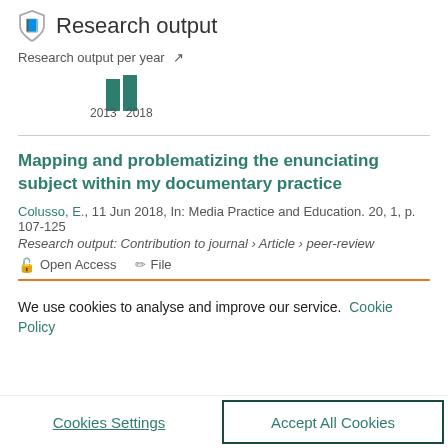Research output
Research output per year
[Figure (bar-chart): Research output per year]
Mapping and problematizing the enunciating subject within my documentary practice
Colusso, E., 11 Jun 2018, In: Media Practice and Education. 20, 1, p. 107-125
Research output: Contribution to journal › Article › peer-review
Open Access   File
We use cookies to analyse and improve our service. Cookie Policy
Cookies Settings
Accept All Cookies